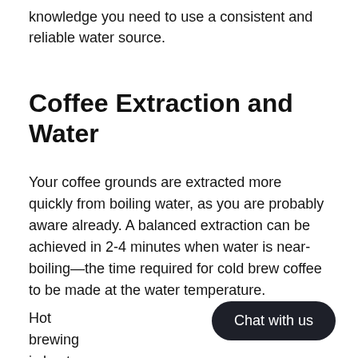knowledge you need to use a consistent and reliable water source.
Coffee Extraction and Water
Your coffee grounds are extracted more quickly from boiling water, as you are probably aware already. A balanced extraction can be achieved in 2-4 minutes when water is near-boiling—the time required for cold brew coffee to be made at the water temperature.
Hot brewing is best done between 19… Fahrenheit.
Chat with us